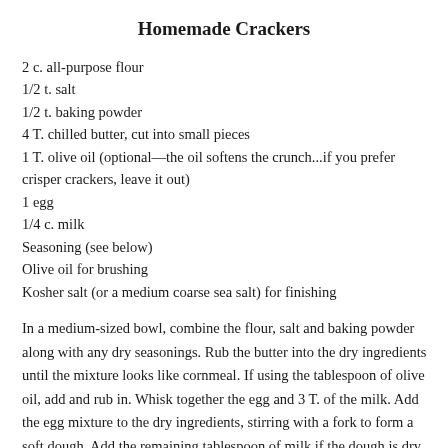Homemade Crackers
2 c. all-purpose flour
1/2 t. salt
1/2 t. baking powder
4 T. chilled butter, cut into small pieces
1 T. olive oil (optional—the oil softens the crunch...if you prefer crisper crackers, leave it out)
1 egg
1/4 c. milk
Seasoning (see below)
Olive oil for brushing
Kosher salt (or a medium coarse sea salt) for finishing
In a medium-sized bowl, combine the flour, salt and baking powder along with any dry seasonings. Rub the butter into the dry ingredients until the mixture looks like cornmeal. If using the tablespoon of olive oil, add and rub in. Whisk together the egg and 3 T. of the milk. Add the egg mixture to the dry ingredients, stirring with a fork to form a soft dough. Add the remaining tablespoon of milk if the dough is dry. Turn the dough out onto a counter and form into a mound. Using the heel of your hand, gradually push all